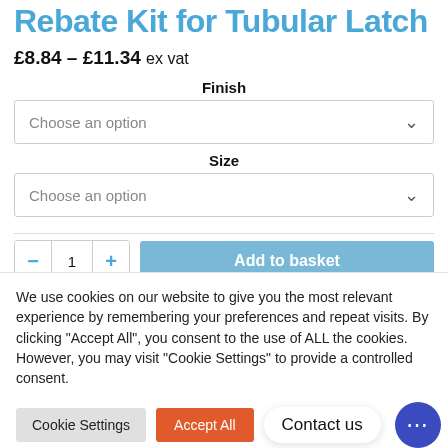Rebate Kit for Tubular Latch
£8.84 – £11.34 ex vat
Finish
Choose an option
Size
Choose an option
Add to basket
We use cookies on our website to give you the most relevant experience by remembering your preferences and repeat visits. By clicking "Accept All", you consent to the use of ALL the cookies. However, you may visit "Cookie Settings" to provide a controlled consent.
Cookie Settings
Accept All
Contact us